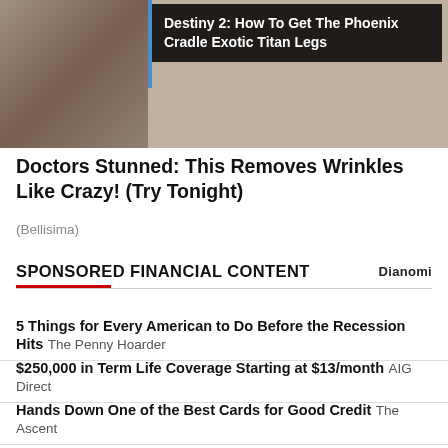[Figure (photo): Top section showing a game character image on the left with a dark banner overlay on the right reading 'Destiny 2: How To Get The Phoenix Cradle Exotic Titan Legs']
Doctors Stunned: This Removes Wrinkles Like Crazy! (Try Tonight)
(Bellisima)
SPONSORED FINANCIAL CONTENT
5 Things for Every American to Do Before the Recession Hits  The Penny Hoarder
$250,000 in Term Life Coverage Starting at $13/month  AIG Direct
Hands Down One of the Best Cards for Good Credit  The Ascent
New EV Set to Disrupt Entire Industry  Empire Financial Research
Smart Money Moves You Can Make To Guard Against Inflation  Truist